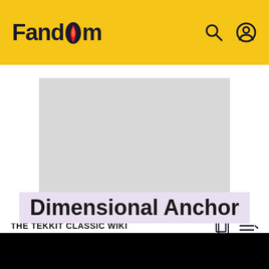Fandom
[Figure (other): Gray advertisement placeholder rectangle]
ADVERTISEMENT
THE TEKKIT CLASSIC WIKI
Dimensional Anchor